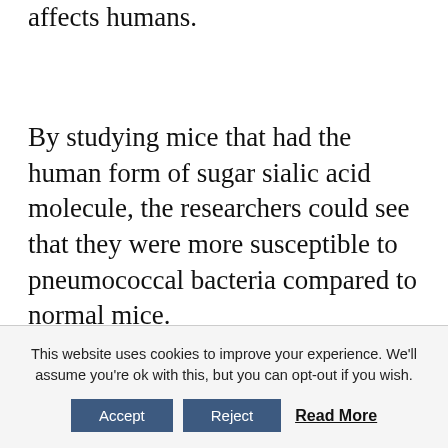affects humans.
By studying mice that had the human form of sugar sialic acid molecule, the researchers could see that they were more susceptible to pneumococcal bacteria compared to normal mice.
Pneumococcal infections can range from ear and sinus infections to pneumonia and bloodstream infections. Primary children younger than 2 years old are
This website uses cookies to improve your experience. We'll assume you're ok with this, but you can opt-out if you wish. Accept Reject Read More